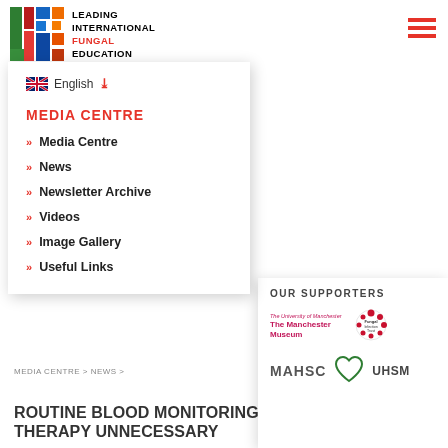[Figure (logo): LIFE - Leading International Fungal Education logo with colourful letter tiles and text]
[Figure (logo): Hamburger menu icon (three red horizontal lines)]
English
MEDIA CENTRE
Media Centre
News
Newsletter Archive
Videos
Image Gallery
Useful Links
MEDIA CENTRE > NEWS >
ROUTINE BLOOD MONITORING THERAPY UNNECESSARY
OUR SUPPORTERS
[Figure (logo): The University of Manchester - The Manchester Museum logo in pink/magenta]
[Figure (logo): Fungal Infection Trust circular logo with red dots]
[Figure (logo): MAHSC text logo]
[Figure (logo): UHSM logo with green heart symbol]